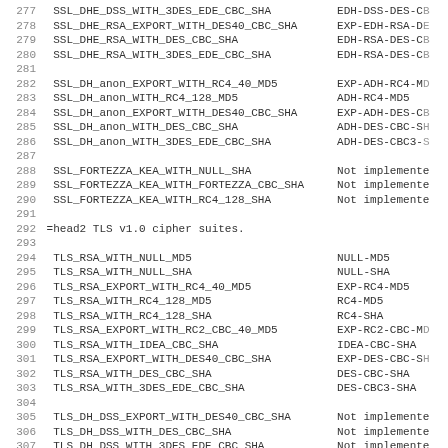277   SSL_DHE_DSS_WITH_3DES_EDE_CBC_SHA           EDH-DSS-DES-CB
278   SSL_DHE_RSA_EXPORT_WITH_DES40_CBC_SHA      EXP-EDH-RSA-DE
279   SSL_DHE_RSA_WITH_DES_CBC_SHA               EDH-RSA-DES-CB
280   SSL_DHE_RSA_WITH_3DES_EDE_CBC_SHA          EDH-RSA-DES-CB
281
282   SSL_DH_anon_EXPORT_WITH_RC4_40_MD5         EXP-ADH-RC4-MD
283   SSL_DH_anon_WITH_RC4_128_MD5              ADH-RC4-MD5
284   SSL_DH_anon_EXPORT_WITH_DES40_CBC_SHA      EXP-ADH-DES-CB
285   SSL_DH_anon_WITH_DES_CBC_SHA              ADH-DES-CBC-SH
286   SSL_DH_anon_WITH_3DES_EDE_CBC_SHA         ADH-DES-CBC3-S
287
288   SSL_FORTEZZA_KEA_WITH_NULL_SHA            Not implemente
289   SSL_FORTEZZA_KEA_WITH_FORTEZZA_CBC_SHA    Not implemente
290   SSL_FORTEZZA_KEA_WITH_RC4_128_SHA         Not implemente
291
292 =head2 TLS v1.0 cipher suites.
293
294   TLS_RSA_WITH_NULL_MD5                     NULL-MD5
295   TLS_RSA_WITH_NULL_SHA                     NULL-SHA
296   TLS_RSA_EXPORT_WITH_RC4_40_MD5            EXP-RC4-MD5
297   TLS_RSA_WITH_RC4_128_MD5                  RC4-MD5
298   TLS_RSA_WITH_RC4_128_SHA                  RC4-SHA
299   TLS_RSA_EXPORT_WITH_RC2_CBC_40_MD5        EXP-RC2-CBC-MD
300   TLS_RSA_WITH_IDEA_CBC_SHA                 IDEA-CBC-SHA
301   TLS_RSA_EXPORT_WITH_DES40_CBC_SHA         EXP-DES-CBC-SH
302   TLS_RSA_WITH_DES_CBC_SHA                  DES-CBC-SHA
303   TLS_RSA_WITH_3DES_EDE_CBC_SHA             DES-CBC3-SHA
304
305   TLS_DH_DSS_EXPORT_WITH_DES40_CBC_SHA      Not implemente
306   TLS_DH_DSS_WITH_DES_CBC_SHA               Not implemente
307   TLS_DH_DSS_WITH_3DES_EDE_CBC_SHA          Not implemente
308   TLS_DH_RSA_EXPORT_WITH_DES40_CBC_SHA      Not implemente
309   TLS_DH_RSA_WITH_DES_CBC_SHA               Not implemente